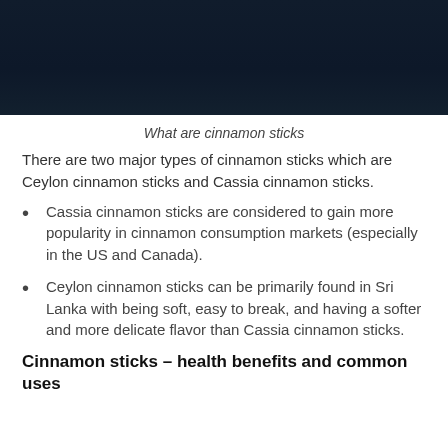[Figure (photo): Dark background image, likely a close-up of cinnamon sticks in dim lighting]
What are cinnamon sticks
There are two major types of cinnamon sticks which are Ceylon cinnamon sticks and Cassia cinnamon sticks.
Cassia cinnamon sticks are considered to gain more popularity in cinnamon consumption markets (especially in the US and Canada).
Ceylon cinnamon sticks can be primarily found in Sri Lanka with being soft, easy to break, and having a softer and more delicate flavor than Cassia cinnamon sticks.
Cinnamon sticks – health benefits and common uses